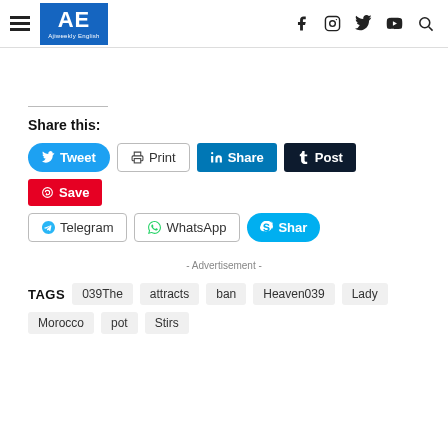AE Ajiweekly English
Share this:
Tweet | Print | Share | Post | Save | Telegram | WhatsApp | Shar
- Advertisement -
TAGS  039The  attracts  ban  Heaven039  Lady  Morocco  pot  Stirs